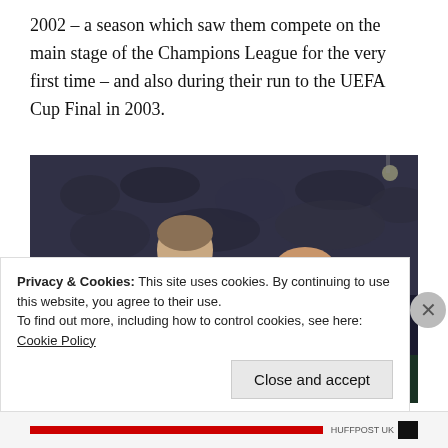2002 – a season which saw them compete on the main stage of the Champions League for the very first time – and also during their run to the UEFA Cup Final in 2003.
[Figure (photo): A football player in a green and white striped Celtic jersey celebrating with fists raised, with another player in dark kit visible behind, and a crowd in the background.]
Privacy & Cookies: This site uses cookies. By continuing to use this website, you agree to their use.
To find out more, including how to control cookies, see here: Cookie Policy